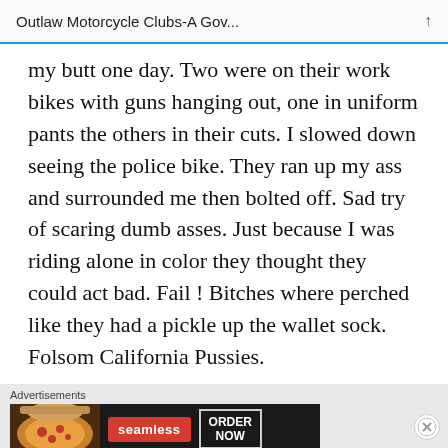Outlaw Motorcycle Clubs-A Gov...
my butt one day. Two were on their work bikes with guns hanging out, one in uniform pants the others in their cuts. I slowed down seeing the police bike. They ran up my ass and surrounded me then bolted off. Sad try of scaring dumb asses. Just because I was riding alone in color they thought they could act bad. Fail ! Bitches where perched like they had a pickle up the wallet sock. Folsom California Pussies.
Advertisements
[Figure (other): Seamless pizza delivery advertisement banner with pizza image, red Seamless logo, and ORDER NOW button]